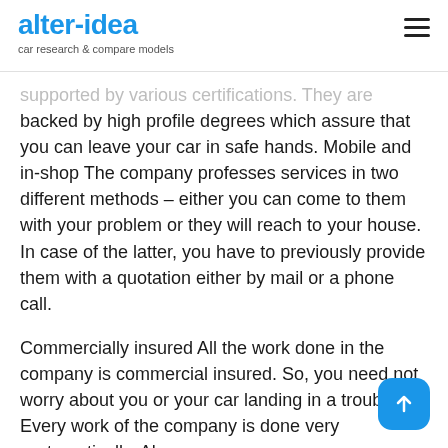alter-idea — car research & compare models
supported by various certifications. They are backed by high profile degrees which assure that you can leave your car in safe hands. Mobile and in-shop The company professes services in two different methods – either you can come to them with your problem or they will reach to your house. In case of the latter, you have to previously provide them with a quotation either by mail or a phone call.
Commercially insured All the work done in the company is commercial insured. So, you need not worry about you or your car landing in a trouble. Every work of the company is done very systematically. Also,